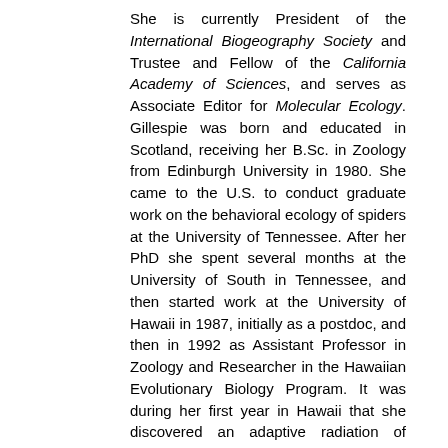She is currently President of the International Biogeography Society and Trustee and Fellow of the California Academy of Sciences, and serves as Associate Editor for Molecular Ecology. Gillespie was born and educated in Scotland, receiving her B.Sc. in Zoology from Edinburgh University in 1980. She came to the U.S. to conduct graduate work on the behavioral ecology of spiders at the University of Tennessee. After her PhD she spent several months at the University of South in Tennessee, and then started work at the University of Hawaii in 1987, initially as a postdoc, and then in 1992 as Assistant Professor in Zoology and Researcher in the Hawaiian Evolutionary Biology Program. It was during her first year in Hawaii that she discovered an adaptive radiation of Tetragnatha spiders. She joined the faculty at the University of California in Berkeley in 1999, where she continues her research focus on the islands of the Pacific, using islands of known age and isolation to assess the combined temporal and spatial dimension of biogeography and determine patterns of diversification, adaptive radiation, and associated community assembly.